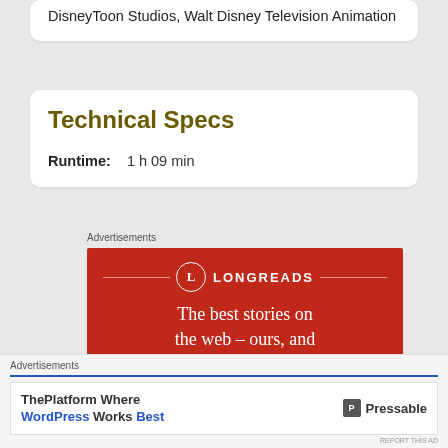DisneyToon Studios, Walt Disney Television Animation
Technical Specs
Runtime:   1 h 09 min
Advertisements
[Figure (illustration): Longreads advertisement on red background with logo and tagline: The best stories on the web – ours, and everyone else's]
Advertisements
[Figure (illustration): Pressable advertisement: ThePlatform Where WordPress Works Best]